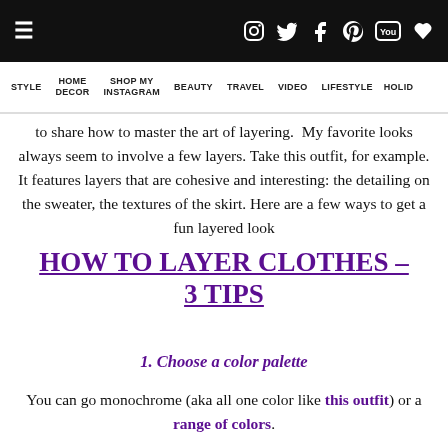≡  [social icons: Instagram, Twitter, Facebook, Pinterest, YouTube, Heart]
STYLE | HOME DECOR | SHOP MY INSTAGRAM | BEAUTY | TRAVEL | VIDEO | LIFESTYLE | HOLID...
to share how to master the art of layering.  My favorite looks always seem to involve a few layers. Take this outfit, for example. It features layers that are cohesive and interesting: the detailing on the sweater, the textures of the skirt. Here are a few ways to get a fun layered look
HOW TO LAYER CLOTHES – 3 TIPS
1. Choose a color palette
You can go monochrome (aka all one color like this outfit) or a range of colors.